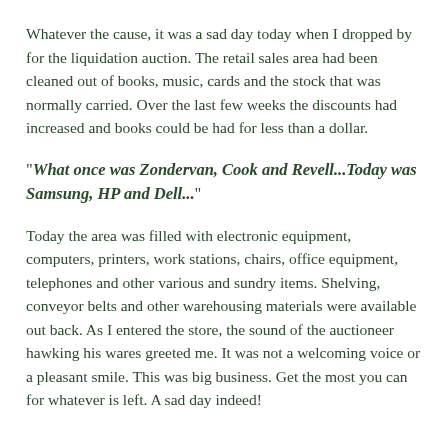Whatever the cause, it was a sad day today when I dropped by for the liquidation auction. The retail sales area had been cleaned out of books, music, cards and the stock that was normally carried. Over the last few weeks the discounts had increased and books could be had for less than a dollar.
"What once was Zondervan, Cook and Revell...Today was Samsung, HP and Dell..."
Today the area was filled with electronic equipment, computers, printers, work stations, chairs, office equipment, telephones and other various and sundry items. Shelving, conveyor belts and other warehousing materials were available out back. As I entered the store, the sound of the auctioneer hawking his wares greeted me. It was not a welcoming voice or a pleasant smile. This was big business. Get the most you can for whatever is left. A sad day indeed!